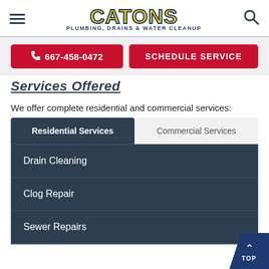CATONS PLUMBING, DRAINS & WATER CLEANUP
☎ 667-458-0472   SCHEDULE SERVICE
Services Offered
We offer complete residential and commercial services:
Residential Services
Commercial Services
Drain Cleaning
Clog Repair
Sewer Repairs